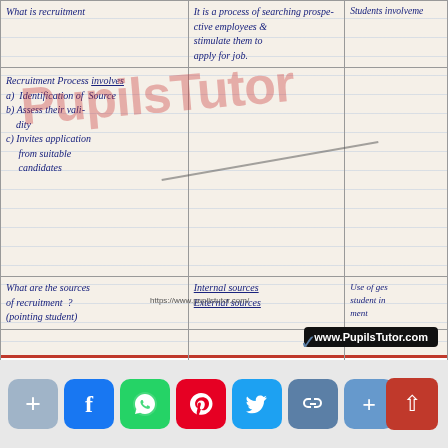| Topic/Question | Answer/Content | Students involvement |
| --- | --- | --- |
| What is recruitment | It is a process of searching prospective employees & stimulate them to apply for job. | Students involvement |
| Recruitment Process involves
a) Identification of Source
b) Assess their validity
c) Invites application from suitable candidates |  |  |
| What are the sources of recruitment ? (pointing student) | Internal sources
External sources | Use of gest student in ment |
[Figure (illustration): PupilsTutor watermark/logo in red italic text overlaid on notebook]
www.PupilsTutor.com
Social media share buttons: +, Facebook, WhatsApp, Pinterest, Twitter, Link, Share, scroll-up button